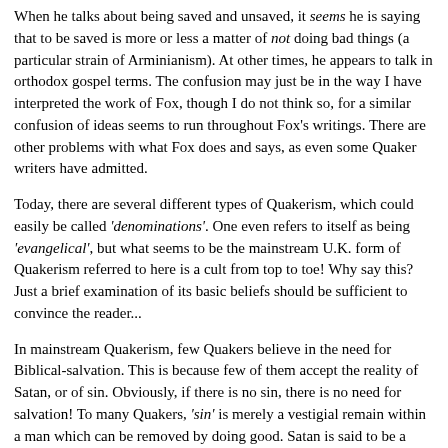When he talks about being saved and unsaved, it seems he is saying that to be saved is more or less a matter of not doing bad things (a particular strain of Arminianism). At other times, he appears to talk in orthodox gospel terms. The confusion may just be in the way I have interpreted the work of Fox, though I do not think so, for a similar confusion of ideas seems to run throughout Fox's writings. There are other problems with what Fox does and says, as even some Quaker writers have admitted.
Today, there are several different types of Quakerism, which could easily be called 'denominations'. One even refers to itself as being 'evangelical', but what seems to be the mainstream U.K. form of Quakerism referred to here is a cult from top to toe! Why say this? Just a brief examination of its basic beliefs should be sufficient to convince the reader...
In mainstream Quakerism, few Quakers believe in the need for Biblical-salvation. This is because few of them accept the reality of Satan, or of sin. Obviously, if there is no sin, there is no need for salvation! To many Quakers, 'sin' is merely a vestigial remain within a man which can be removed by doing good. Satan is said to be a figment of the imagination and Jesus Christ is said to have been just